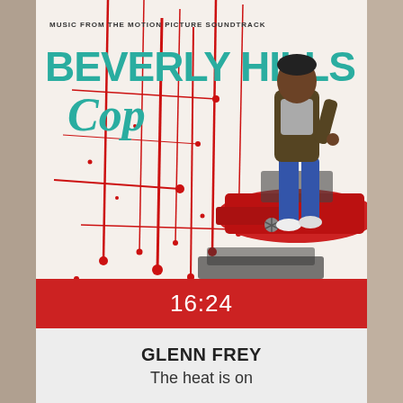[Figure (photo): Album cover for Beverly Hills Cop motion picture soundtrack. White background with red paint splatter drips. Text reads 'MUSIC FROM THE MOTION PICTURE SOUNDTRACK' at top, then 'BEVERLY HILLS' in large teal letters, with 'Cop' in teal cursive script. A man in a brown leather jacket and blue jeans is seated on the hood of a red convertible car on the right side.]
16:24
GLENN FREY
The heat is on